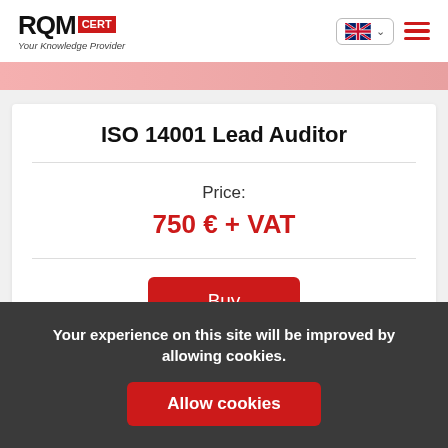[Figure (logo): RQM CERT logo with tagline 'Your Knowledge Provider']
[Figure (infographic): Pink/rose colored banner strip]
ISO 14001 Lead Auditor
Price:
750 € + VAT
Buy
Your experience on this site will be improved by allowing cookies.
Allow cookies